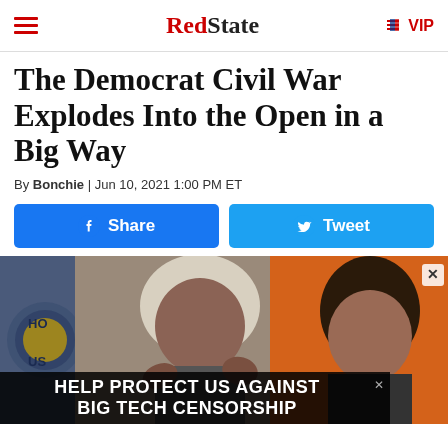RedState | VIP
The Democrat Civil War Explodes Into the Open in a Big Way
By Bonchie | Jun 10, 2021 1:00 PM ET
[Figure (screenshot): Two social sharing buttons: a blue Facebook Share button and a blue Twitter Tweet button]
[Figure (photo): Photo of two congresswomen, one wearing a white hijab speaking, and another with dark hair looking on, in front of what appears to be a congressional seal and an orange background. Below the photo is an ad banner reading HELP PROTECT US AGAINST BIG TECH CENSORSHIP]